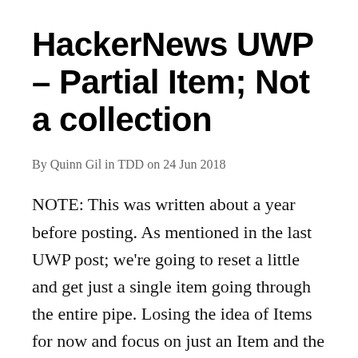HackerNews UWP - Partial Item; Not a collection
By Quinn Gil in TDD on 24 Jun 2018
NOTE: This was written about a year before posting. As mentioned in the last UWP post; we're going to reset a little and get just a single item going through the entire pipe. Losing the idea of Items for now and focus on just an Item and the ItemView. This